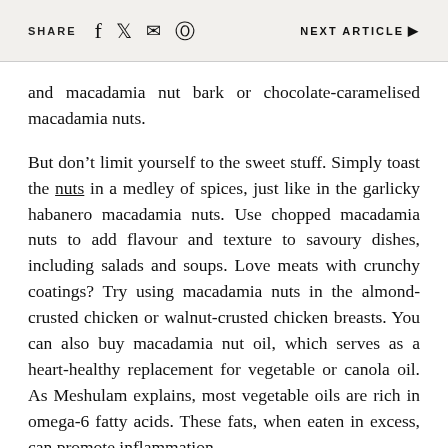SHARE  NEXT ARTICLE ▶
and macadamia nut bark or chocolate-caramelised macadamia nuts.
But don't limit yourself to the sweet stuff. Simply toast the nuts in a medley of spices, just like in the garlicky habanero macadamia nuts. Use chopped macadamia nuts to add flavour and texture to savoury dishes, including salads and soups. Love meats with crunchy coatings? Try using macadamia nuts in the almond-crusted chicken or walnut-crusted chicken breasts. You can also buy macadamia nut oil, which serves as a heart-healthy replacement for vegetable or canola oil. As Meshulam explains, most vegetable oils are rich in omega-6 fatty acids. These fats, when eaten in excess, can promote inflammation.